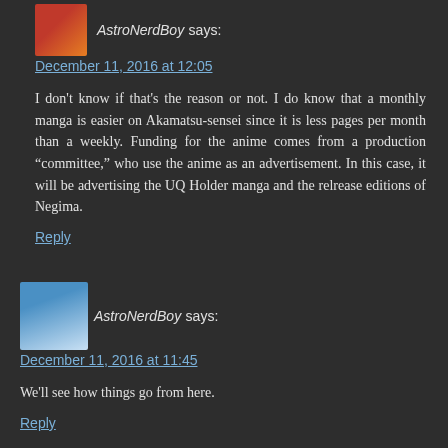AstroNerdBoy says:
December 11, 2016 at 12:05
I don't know if that's the reason or not. I do know that a monthly manga is easier on Akamatsu-sensei since it is less pages per month than a weekly. Funding for the anime comes from a production “committee,” who use the anime as an advertisement. In this case, it will be advertising the UQ Holder manga and the relrease editions of Negima.
Reply
AstroNerdBoy says:
December 11, 2016 at 11:45
We'll see how things go from here.
Reply